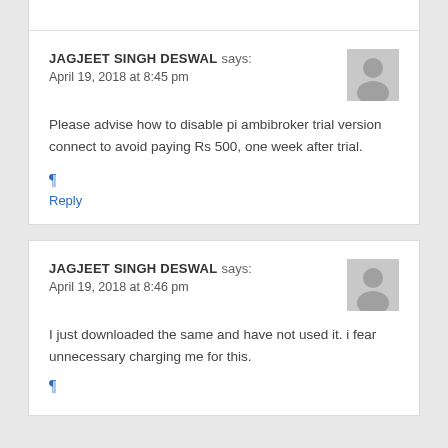JAGJEET SINGH DESWAL says: April 19, 2018 at 8:45 pm
Please advise how to disable pi ambibroker trial version connect to avoid paying Rs 500, one week after trial.
¶ Reply
JAGJEET SINGH DESWAL says: April 19, 2018 at 8:46 pm
I just downloaded the same and have not used it. i fear unnecessary charging me for this.